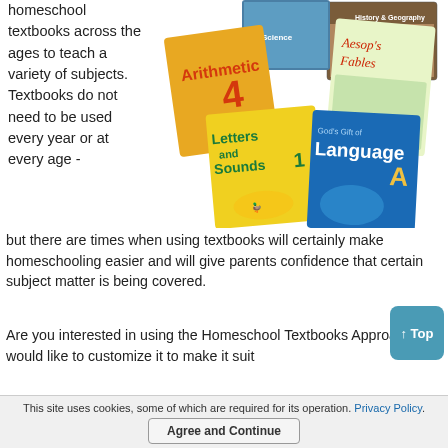homeschool textbooks across the ages to teach a variety of subjects. Textbooks do not need to be used every year or at every age -
[Figure (photo): A collage of homeschool textbooks including Arithmetic 4, Letters and Sounds 1, God's Gift of Language A, Aesop's Fables, a science book, and a history & geography book.]
but there are times when using textbooks will certainly make homeschooling easier and will give parents confidence that certain subject matter is being covered.
Are you interested in using the Homeschool Textbooks Approach, but would like to customize it to make it suit
This site uses cookies, some of which are required for its operation. Privacy Policy. Agree and Continue